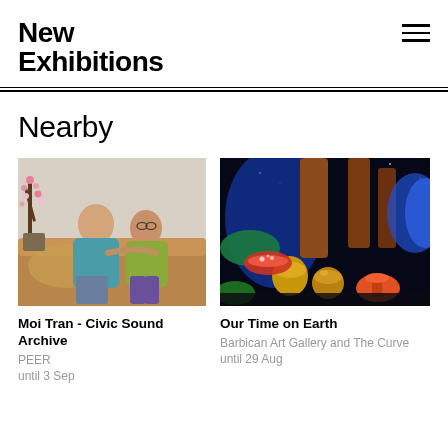New Exhibitions
Nearby
[Figure (photo): Two women sitting on a brown sofa, one in a teal top and one in a yellow-green top, with pink flowering branches in a vase behind them.]
Moi Tran - Civic Sound Archive
PEER
until 3 Sep
[Figure (photo): Colorful surreal art installation with glowing mushrooms, giant trees, and golden orbs in a dark environment.]
Our Time on Earth
Barbican Art Gallery and The Curve
until 29 Aug
INAUGU
Benjamin
until 24 S